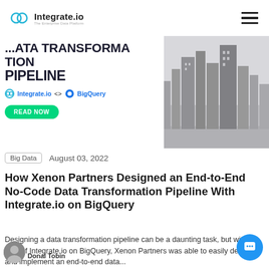Integrate.io — The Enterprise Data Platform
[Figure (screenshot): Banner advertisement showing partial title text '...ATA TRANSFORMATION PIPELINE' with Integrate.io <> BigQuery branding and a READ NOW button on the left, and a grayscale city skyline photo on the right.]
Big Data   August 03, 2022
How Xenon Partners Designed an End-to-End No-Code Data Transformation Pipeline With Integrate.io on BigQuery
Designing a data transformation pipeline can be a daunting task, but with the help of Integrate.io on BigQuery, Xenon Partners was able to easily design and implement an end-to-end data...
Donal Tobin